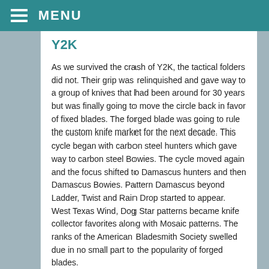MENU
Y2K
As we survived the crash of Y2K, the tactical folders did not. Their grip was relinquished and gave way to a group of knives that had been around for 30 years but was finally going to move the circle back in favor of fixed blades. The forged blade was going to rule the custom knife market for the next decade. This cycle began with carbon steel hunters which gave way to carbon steel Bowies. The cycle moved again and the focus shifted to Damascus hunters and then Damascus Bowies. Pattern Damascus beyond Ladder, Twist and Rain Drop started to appear. West Texas Wind, Dog Star patterns became knife collector favorites along with Mosaic patterns. The ranks of the American Bladesmith Society swelled due in no small part to the popularity of forged blades.